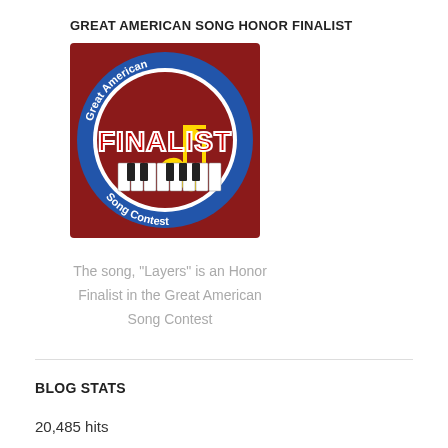GREAT AMERICAN SONG HONOR FINALIST
[Figure (logo): Great American Song Contest circular badge with blue border, red background, yellow musical notes, and 'FINALIST' text in red with white outline. Text around the circle reads 'Great American Song Contest'.]
The song, “Layers” is an Honor Finalist in the Great American Song Contest
BLOG STATS
20,485 hits